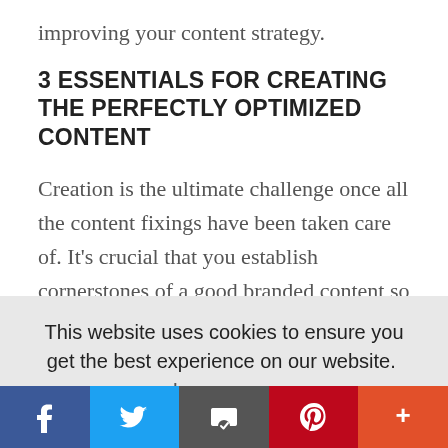improving your content strategy.
3 ESSENTIALS FOR CREATING THE PERFECTLY OPTIMIZED CONTENT
Creation is the ultimate challenge once all the content fixings have been taken care of. It’s crucial that you establish cornerstones of a good branded content so that optimal impact is always
This website uses cookies to ensure you get the best experience on our website.  Learn more
Got it!